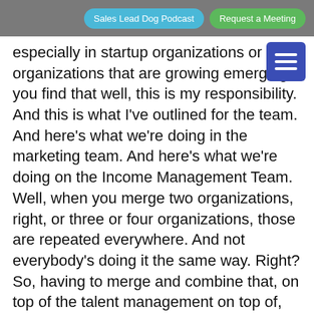Sales Lead Dog Podcast | Request a Meeting
especially in startup organizations or organizations that are growing emerging, you find that well, this is my responsibility. And this is what I've outlined for the team. And here's what we're doing in the marketing team. And here's what we're doing on the Income Management Team. Well, when you merge two organizations, right, or three or four organizations, those are repeated everywhere. And not everybody's doing it the same way. Right? So, having to merge and combine that, on top of the talent management on top of, you know, calming people down about, am I going to lose my job? Am I gonna have this? Right? Those are the things I find most challenging is the external factor, because I know what I want to build. Right. But then how do we how do we synthesize that? And how do we get the organization? Right, overall, the new organization to accept, right, and so, you know, a lot of a lot of times what happens is